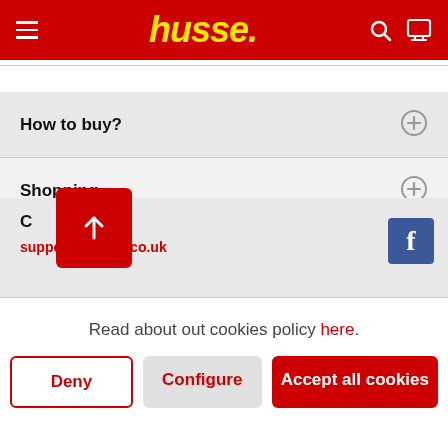husse.
How to buy?
Shopping
Contact us
support@husse.co.uk
Read about out cookies policy here.
Deny
Configure
Accept all cookies